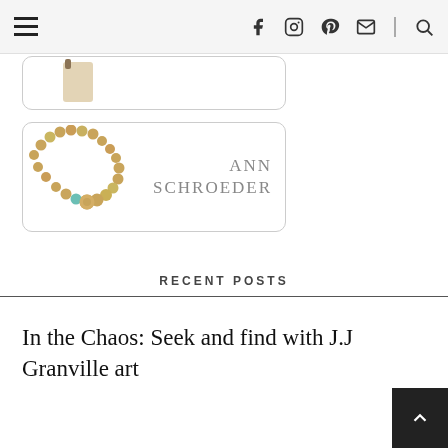Navigation bar with hamburger menu and social icons: Facebook, Instagram, Pinterest, Email, Search
[Figure (photo): Partially visible card with a small decorative element at top]
[Figure (photo): Ann Schroeder card showing a beaded necklace on the left and the text 'ANN SCHROEDER' on the right]
RECENT POSTS
In the Chaos: Seek and find with J.J Granville art
Sweet Beats: Seek Rais... The Terrified...